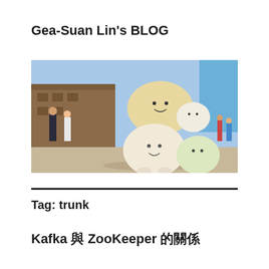Gea-Suan Lin's BLOG
[Figure (photo): Outdoor scene with large plush toy characters resembling Sumikko Gurashi stacked on each other in a city plaza, with people and buildings in the background on a sunny day.]
Tag: trunk
Kafka 與 ZooKeeper 的關係